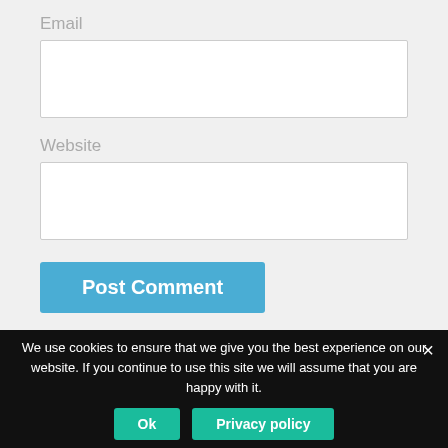Email
Website
Post Comment
This site uses Akismet to reduce spam. Learn how your comment data is processed.
We use cookies to ensure that we give you the best experience on our website. If you continue to use this site we will assume that you are happy with it.
Ok
Privacy policy